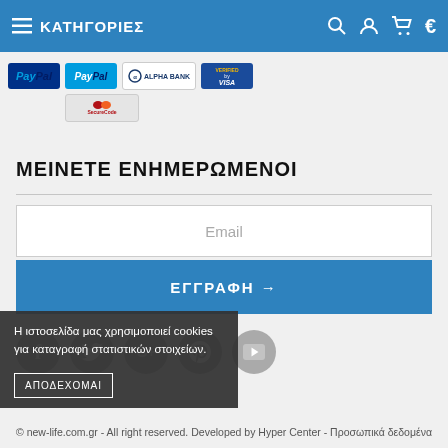ΚΑΤΗΓΟΡΙΕΣ
[Figure (logo): Payment method logos: PayPal, PayPal, Alpha Bank, Verified by Visa, MasterCard SecureCode]
ΜΕΙΝΕΤΕ ΕΝΗΜΕΡΩΜΕΝΟΙ
Email
ΕΓΓΡΑΦΗ →
[Figure (illustration): Social media icons: Facebook, Twitter, Google+, Pinterest, YouTube]
Η ιστοσελίδα μας χρησιμοποιεί cookies για καταγραφή στατιστικών στοιχείων.
ΑΠΟΔΕΧΟΜΑΙ
© new-life.com.gr - All right reserved. Developed by Hyper Center - Προσωπικά δεδομένα